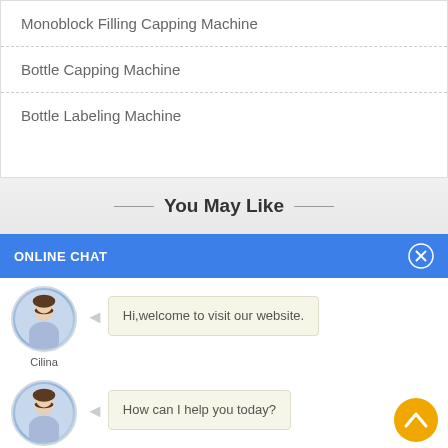Monoblock Filling Capping Machine
Bottle Capping Machine
Bottle Labeling Machine
You May Like
ONLINE CHAT
[Figure (illustration): Avatar of a woman named Cilina with chat bubble saying Hi,welcome to visit our website.]
Cilina
Hi,welcome to visit our website.
[Figure (illustration): Avatar of a woman named Cilina with chat bubble saying How can I help you today?]
Cilina
How can I help you today?